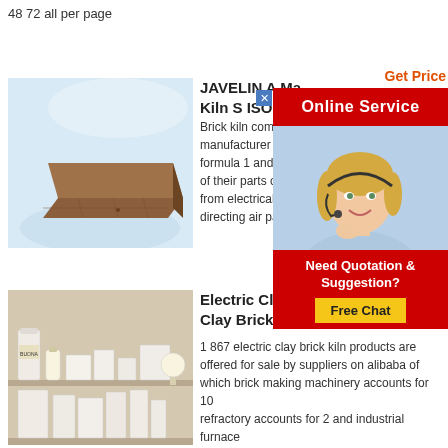48 72 all per page
[Figure (photo): A brown rectangular brick on a light blue/white background]
JAVELIN A Ma… Kiln S ISO Au
Brick kiln composite manufacturer of car formula 1 and a spo of their parts on a c from electrical trays directing air past th
[Figure (photo): Screenshot of a customer service agent popup with red Online Service banner and woman with headset]
[Figure (photo): Photo of electric clay brick kiln products on shelves]
Electric Clay Brick Kiln Electric Clay Brick Kiln
1 867 electric clay brick kiln products are offered for sale by suppliers on alibaba of which brick making machinery accounts for 10 refractory accounts for 2 and industrial furnace accounts for 1 a wide variety of electric clay